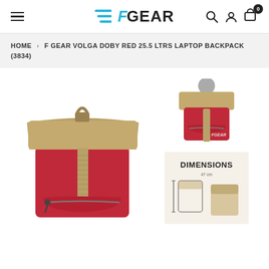[Figure (screenshot): F Gear website header with hamburger menu, F Gear logo in blue and black, search icon, user icon, and cart icon with badge showing 0]
HOME › F GEAR VOLGA DOBY RED 25.5 LTRS LAPTOP BACKPACK (3834)
[Figure (photo): Main product image: F Gear Volga Doby Red backpack, front view showing red body with tan/khaki roll-top flap, tan strap with buckle, front zipper pocket with grey zipper pull, and carry handle]
[Figure (photo): Thumbnail: Back/side view of the same red F Gear backpack with tan flap and grey circle top closure]
[Figure (photo): Thumbnail: Dimensions diagram for the backpack]